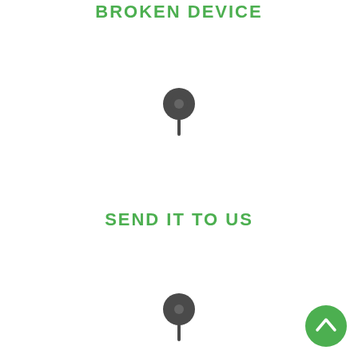BROKEN DEVICE
[Figure (illustration): A dark gray map pin / location marker icon with a circular head and a pointed stem, centered on the page upper half.]
SEND IT TO US
[Figure (illustration): A dark gray map pin / location marker icon with a circular head and a pointed stem, centered on the page lower portion.]
[Figure (illustration): A circular green button with an upward-pointing chevron arrow, positioned in the bottom-right corner.]